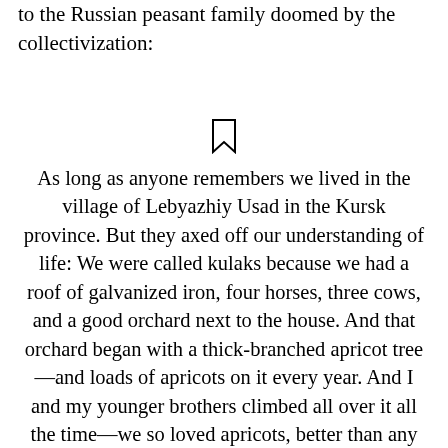to the Russian peasant family doomed by the collectivization:
[Figure (illustration): A bookmark icon (outline of a bookmark/ribbon shape)]
As long as anyone remembers we lived in the village of Lebyazhiy Usad in the Kursk province. But they axed off our understanding of life: We were called kulaks because we had a roof of galvanized iron, four horses, three cows, and a good orchard next to the house. And that orchard began with a thick-branched apricot tree—and loads of apricots on it every year. And I and my younger brothers climbed all over it all the time—we so loved apricots, better than any other fruit—and never again will I eat such apricots. In the open